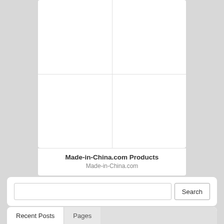[Figure (screenshot): 2x2 grid of white image placeholder cells forming a product widget from Made-in-China.com]
Made-in-China.com Products
Made-in-China.com
Search
Recent Posts
Pages
Nicki Minaj – Bed (Feat Ariana Grande) [Music Video]